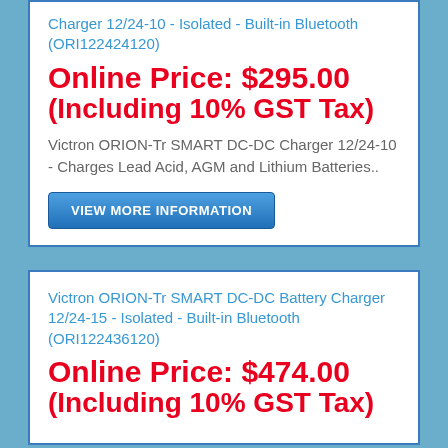Victron ORION-Tr SMART DC-DC Battery Charger 12/24-10 - Isolated - Built-in Bluetooth (ORI122424120)
Online Price: $295.00 (Including 10% GST Tax)
Victron ORION-Tr SMART DC-DC Charger 12/24-10 - Charges Lead Acid, AGM and Lithium Batteries..
VIEW MORE INFORMATION
Victron ORION-Tr SMART DC-DC Battery Charger 12/24-15 - Isolated - Built-in Bluetooth (ORI122436120)
Online Price: $474.00 (Including 10% GST Tax)